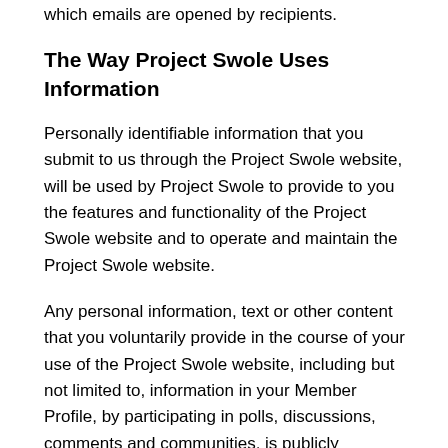which emails are opened by recipients.
The Way Project Swole Uses Information
Personally identifiable information that you submit to us through the Project Swole website, will be used by Project Swole to provide to you the features and functionality of the Project Swole website and to operate and maintain the Project Swole website.
Any personal information, text or other content that you voluntarily provide in the course of your use of the Project Swole website, including but not limited to, information in your Member Profile, by participating in polls, discussions, comments and communities, is publicly available and can be collected and used by others. Your User Name (but not your email address) is displayed to other Users in connection with the polls you create and messages you post in discussions. Any information that you post on the